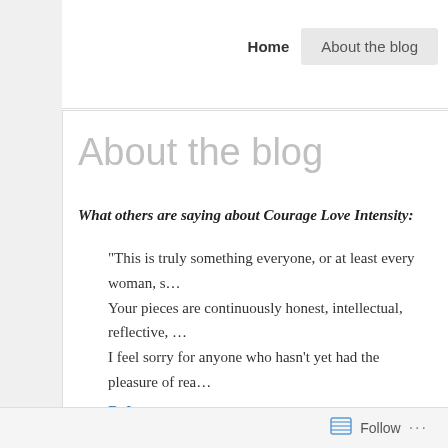Home | About the blog
About the blog
What others are saying about Courage Love Intensity:
“This is truly something everyone, or at least every woman, s... Your pieces are continuously honest, intellectual, reflective, ... I feel sorry for anyone who hasn’t yet had the pleasure of rea...
D. Lyon
“You are turning into my go-to website for inspiration or a re... snap myself out of my funk.” ~ Dani of Suburbia Interrupted
“I find some of the advice posts out there quite patronising a...
Follow ...